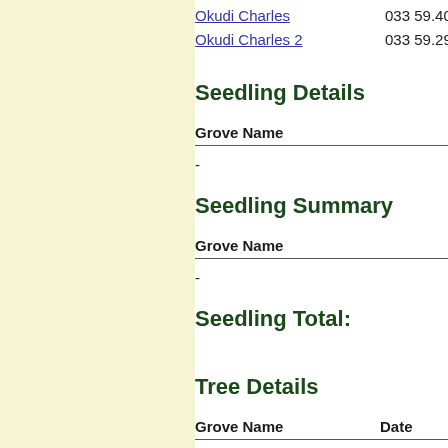Okudi Charles   033 59.4047 E   01 46.0468 N   Flat
Okudi Charles 2   033 59.2965 E   01 45.9953 N   Flat
Seedling Details
| Grove Name | Date | Species |
| --- | --- | --- |
| - |  |  |
Seedling Summary
| Grove Name | Total P |
| --- | --- |
| - | - |
Seedling Total:
Tree Details
| Grove Name | Date | Species |
| --- | --- | --- |
| Okudi Charles | 02 May 2022 | Casuarina |